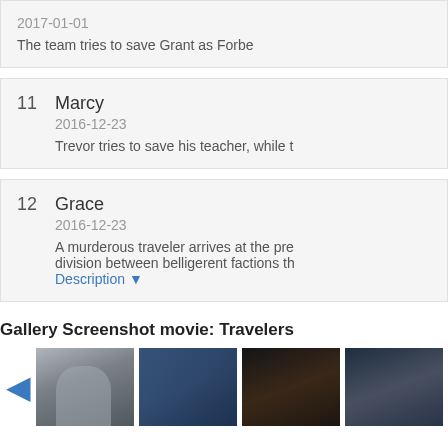2017-01-01
The team tries to save Grant as Forbe...
11  Marcy
2016-12-23
Trevor tries to save his teacher, while t...
12  Grace
2016-12-23
A murderous traveler arrives at the pre... division between belligerent factions th... Description ▼
Gallery Screenshot movie: Travelers
[Figure (photo): Gallery of four Travelers TV show screenshots shown in a horizontal row with a left navigation arrow]